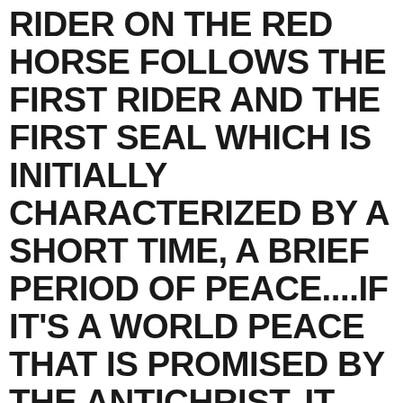RIDER ON THE RED HORSE FOLLOWS THE FIRST RIDER AND THE FIRST SEAL WHICH IS INITIALLY CHARACTERIZED BY A SHORT TIME, A BRIEF PERIOD OF PEACE....IF IT'S A WORLD PEACE THAT IS PROMISED BY THE ANTICHRIST, IT WON'T LAST LONG.  IF IT'S PEACE IN THE MIDDLE EAST.....THE PEACE TREATY WITH ISRAEL WE KNOW FROM SCRIPTURE THAT IT WILL ONLY LAST 3 ½ YEARS ACCORDING TO DANIEL 9:27